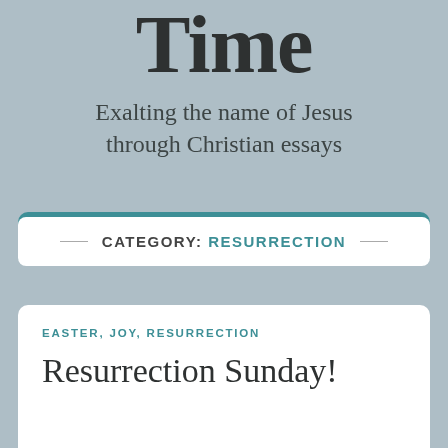Time
Exalting the name of Jesus through Christian essays
CATEGORY: RESURRECTION
EASTER, JOY, RESURRECTION
Resurrection Sunday!